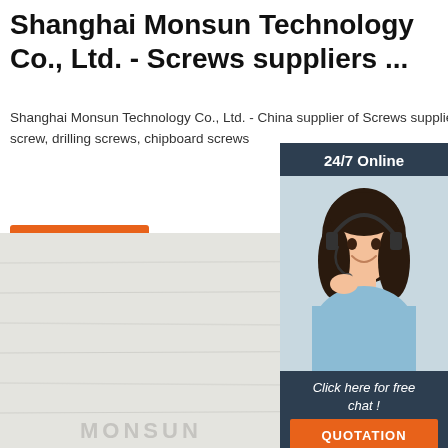Shanghai Monsun Technology Co., Ltd. - Screws suppliers ...
Shanghai Monsun Technology Co., Ltd. - China supplier of Screws suppliers, Drywall screw, drilling screws, chipboard screws
[Figure (other): Orange 'Get Price' button]
[Figure (other): Sidebar with 24/7 Online customer service representative photo, 'Click here for free chat!' text, and orange QUOTATION button]
[Figure (photo): Product photo of a chipboard/drywall screw on a light wooden background with MONSUN watermark text]